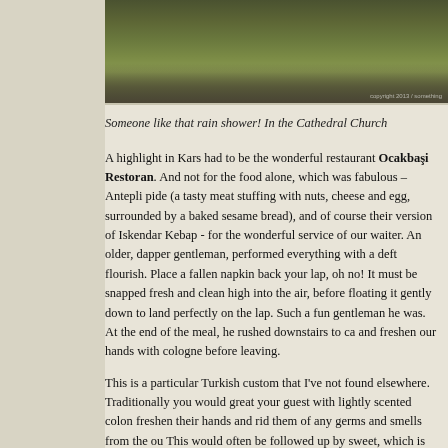[Figure (photo): Outdoor landscape photo showing rocky terrain with moss and sparse grass, natural daylight setting.]
Someone like that rain shower! In the Cathedral Church
A highlight in Kars had to be the wonderful restaurant Ocakbaşi Restoran. And not for the food alone, which was fabulous – Antepli pide (a tasty meat stuffing with nuts, cheese and egg, surrounded by a baked sesame bread), and of course their version of Iskendar Kebap - for the wonderful service of our waiter. An older, dapper gentleman, performed everything with a deft flourish. Place a fallen napkin back your lap, oh no! It must be snapped fresh and clean high into the air, before floating it gently down to land perfectly on the lap. Such a fun gentleman he was. At the end of the meal, he rushed downstairs to ca and freshen our hands with cologne before leaving.
This is a particular Turkish custom that I've not found elsewhere. Traditionally you would great your guest with lightly scented cologne freshen their hands and rid them of any germs and smells from the ou This would often be followed up by sweet, which is meant to ensure evening of sweet conversation. The cologne offer is traditional not on